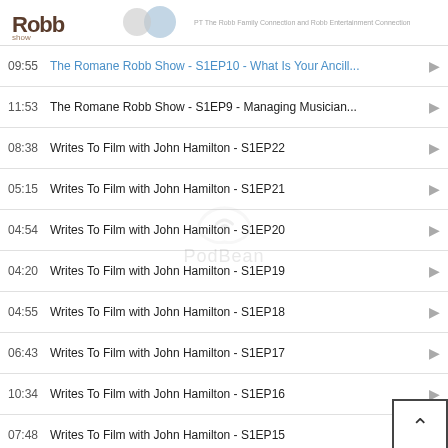[Figure (logo): The Romane Robb Show logo with text and circle graphic]
09:55 The Romane Robb Show - S1EP10 - What Is Your Ancill...
11:53 The Romane Robb Show - S1EP9 - Managing Musician...
08:38 Writes To Film with John Hamilton - S1EP22
05:15 Writes To Film with John Hamilton - S1EP21
04:54 Writes To Film with John Hamilton - S1EP20
04:20 Writes To Film with John Hamilton - S1EP19
04:55 Writes To Film with John Hamilton - S1EP18
06:43 Writes To Film with John Hamilton - S1EP17
10:34 Writes To Film with John Hamilton - S1EP16
07:48 Writes To Film with John Hamilton - S1EP15
06:56 Writes To Film with John Hamilton - S1EP14